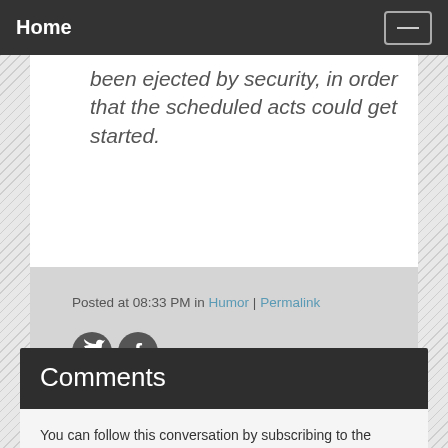Home
been ejected by security, in order that the scheduled acts could get started.
Posted at 08:33 PM in Humor | Permalink
[Figure (illustration): Twitter and Facebook social sharing icons (dark circular icons)]
Comments
You can follow this conversation by subscribing to the comment feed for this post.